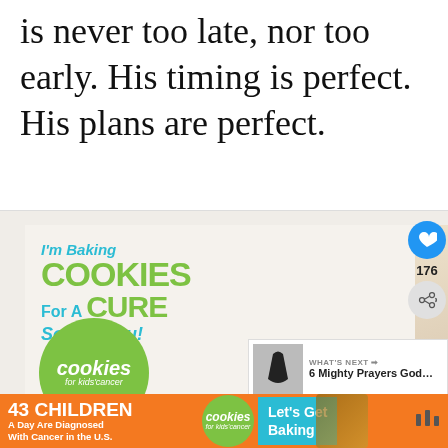is never too late, nor too early. His timing is perfect. His plans are perfect.
[Figure (photo): Advertisement for 'Cookies for Kids' Cancer' featuring a young girl baking cookies with text: I'm Baking COOKIES For A CURE So can you! Haldora, 11. Cookies for kids' cancer logo.]
[Figure (photo): Bottom banner ad: 43 CHILDREN A Day Are Diagnosed With Cancer in the U.S. Cookies for kids' cancer. Let's Get Baking.]